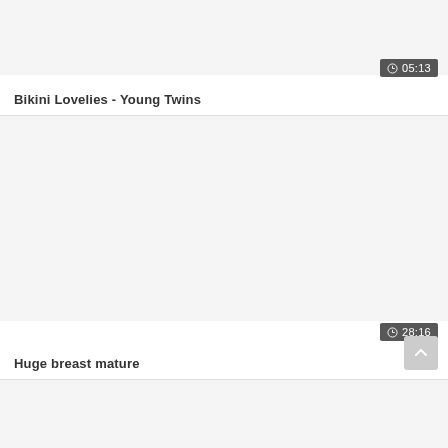[Figure (screenshot): Video thumbnail placeholder for 'Bikini Lovelies - Young Twins', light gray background]
05:13
Bikini Lovelies - Young Twins
[Figure (screenshot): Video thumbnail placeholder for 'Huge breast mature', light gray background]
28:16
Huge breast mature